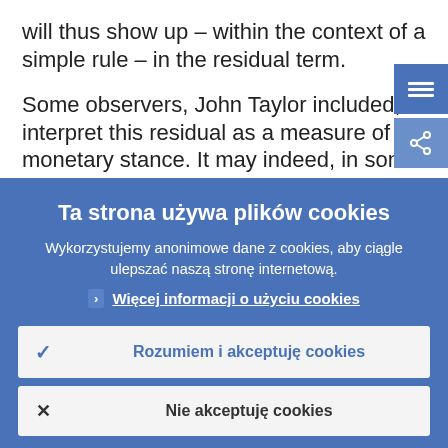will thus show up – within the context of a simple rule – in the residual term.
Some observers, John Taylor included, interpret this residual as a measure of the monetary stance. It may indeed, in some
Ta strona używa plików cookies
Wykorzystujemy anonimowe dane z cookies, aby ciągle ulepszać naszą stronę internetową.
Więcej informacji o użyciu cookies
Rozumiem i akceptuję cookies
Nie akceptuję cookies